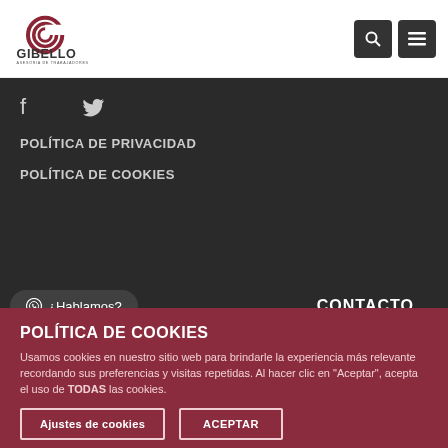Gibello Asesoría de Trabajadores
POLÍTICA DE PRIVACIDAD
POLÍTICA DE COOKIES
¿Hablamos?
CONTACTO
POLÍTICA DE COOKIES
Usamos cookies en nuestro sitio web para brindarle la experiencia más relevante recordando sus preferencias y visitas repetidas. Al hacer clic en "Aceptar", acepta el uso de TODAS las cookies.
Ajustes de cookies
ACEPTAR